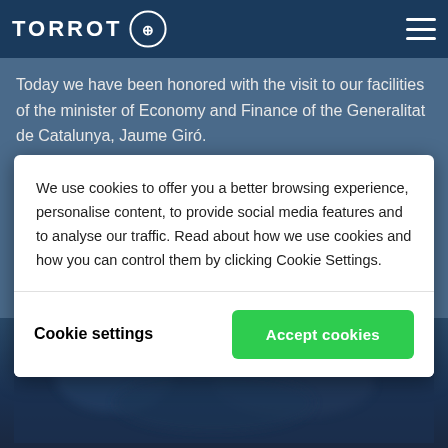TORROT
Today we have been honored with the visit to our facilities of the minister of Economy and Finance of the Generalitat de Catalunya, Jaume Giró.
We use cookies to offer you a better browsing experience, personalise content, to provide social media features and to analyse our traffic. Read about how we use cookies and how you can control them by clicking Cookie Settings.
Cookie settings
Accept cookies
[Figure (photo): Blurred dark blue photo, partially obscured by cookie consent dialog, showing people at a facility visit]